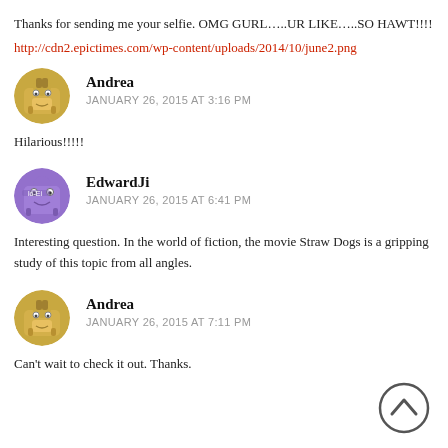Thanks for sending me your selfie. OMG GURL…..UR LIKE…..SO HAWT!!!!
http://cdn2.epictimes.com/wp-content/uploads/2014/10/june2.png
Andrea
JANUARY 26, 2015 AT 3:16 PM
Hilarious!!!!!
EdwardJi
JANUARY 26, 2015 AT 6:41 PM
Interesting question. In the world of fiction, the movie Straw Dogs is a gripping study of this topic from all angles.
Andrea
JANUARY 26, 2015 AT 7:11 PM
Can’t wait to check it out. Thanks.